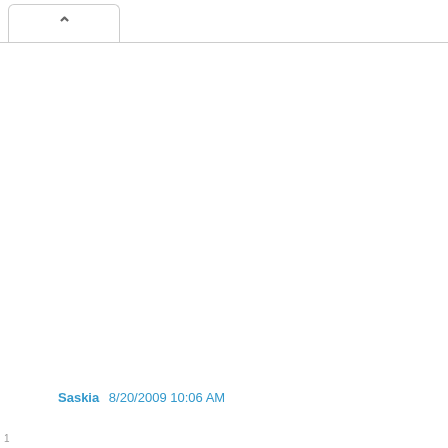[Figure (screenshot): Browser tab UI element showing a chevron/up-arrow icon (^) in a white tab with rounded top corners and a bottom border line]
Saskia 8/20/2009 10:06 AM